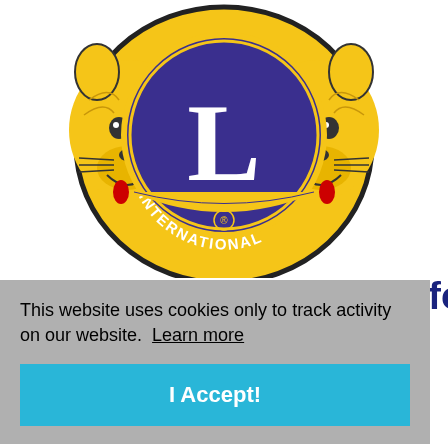[Figure (logo): Lions International logo — two yellow lions flanking a purple circle with a white 'L' in the center, 'INTERNATIONAL' text around the bottom of the circle, and a registered trademark symbol]
40 Lionhearted Heroes for
This website uses cookies only to track activity on our website. Learn more
I Accept!
[Figure (logo): Partial Lions International emblem coins/medallion at the bottom of the page]